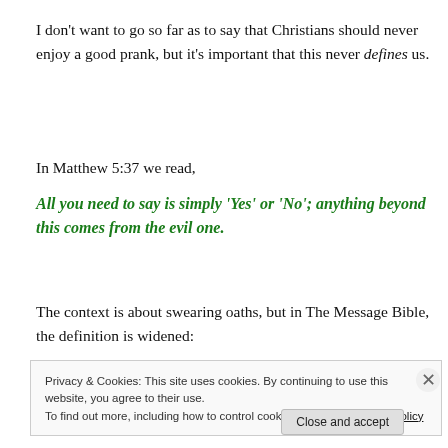I don’t want to go so far as to say that Christians should never enjoy a good prank, but it’s important that this never defines us.
In Matthew 5:37 we read,
All you need to say is simply ‘Yes’ or ‘No’; anything beyond this comes from the evil one.
The context is about swearing oaths, but in The Message Bible, the definition is widened:
Privacy & Cookies: This site uses cookies. By continuing to use this website, you agree to their use.
To find out more, including how to control cookies, see here: Cookie Policy
Close and accept